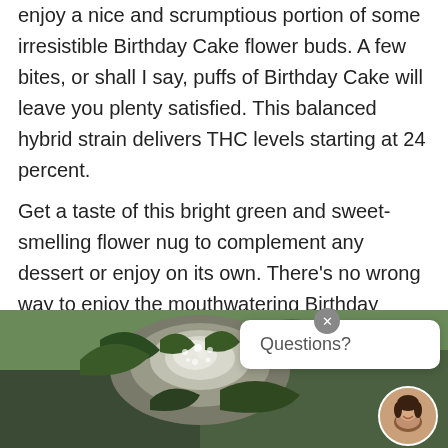enjoy a nice and scrumptious portion of some irresistible Birthday Cake flower buds. A few bites, or shall I say, puffs of Birthday Cake will leave you plenty satisfied. This balanced hybrid strain delivers THC levels starting at 24 percent.
Get a taste of this bright green and sweet-smelling flower nug to complement any dessert or enjoy on its own. There's no wrong way to enjoy the mouthwatering Birthday Cake strain. Look out for Birthday Cake strain varieties that are more indica-leaning.
[Figure (photo): Close-up photo of a cannabis flower bud (Birthday Cake strain) with visible trichomes, against a blurred green background. A chat widget with a female avatar and 'Questions?' text appears in the bottom right corner.]